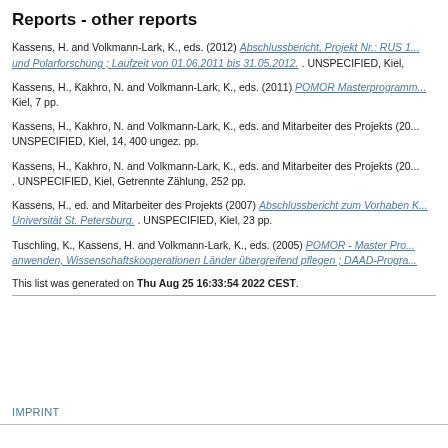Reports - other reports
Kassens, H. and Volkmann-Lark, K., eds. (2012) Abschlussbericht, Projekt Nr.: RUS 1... und Polarforschung ; Laufzeit von 01.06.2011 bis 31.05.2012. . UNSPECIFIED, Kiel,
Kassens, H., Kakhro, N. and Volkmann-Lark, K., eds. (2011) POMOR Masterprogramm... Kiel, 7 pp.
Kassens, H., Kakhro, N. and Volkmann-Lark, K., eds. and Mitarbeiter des Projekts (20... UNSPECIFIED, Kiel, 14, 400 ungez. pp.
Kassens, H., Kakhro, N. and Volkmann-Lark, K., eds. and Mitarbeiter des Projekts (20... . UNSPECIFIED, Kiel, Getrennte Zählung, 252 pp.
Kassens, H., ed. and Mitarbeiter des Projekts (2007) Abschlussbericht zum Vorhaben K... Universität St. Petersburg. . UNSPECIFIED, Kiel, 23 pp.
Tuschling, K., Kassens, H. and Volkmann-Lark, K., eds. (2005) POMOR - Master Pro... anwenden, Wissenschaftskooperationen Länder übergreifend pflegen ; DAAD-Progra...
This list was generated on Thu Aug 25 16:33:54 2022 CEST.
IMPRINT